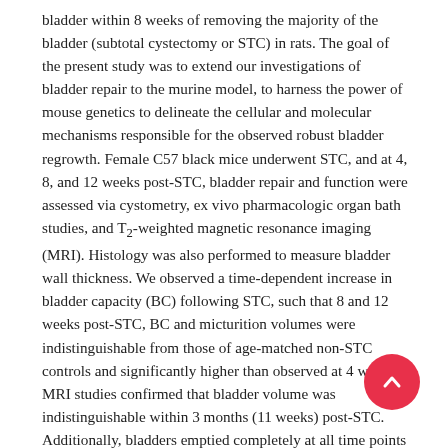bladder within 8 weeks of removing the majority of the bladder (subtotal cystectomy or STC) in rats. The goal of the present study was to extend our investigations of bladder repair to the murine model, to harness the power of mouse genetics to delineate the cellular and molecular mechanisms responsible for the observed robust bladder regrowth. Female C57 black mice underwent STC, and at 4, 8, and 12 weeks post-STC, bladder repair and function were assessed via cystometry, ex vivo pharmacologic organ bath studies, and T2-weighted magnetic resonance imaging (MRI). Histology was also performed to measure bladder wall thickness. We observed a time-dependent increase in bladder capacity (BC) following STC, such that 8 and 12 weeks post-STC, BC and micturition volumes were indistinguishable from those of age-matched non-STC controls and significantly higher than observed at 4 weeks. MRI studies confirmed that bladder volume was indistinguishable within 3 months (11 weeks) post-STC. Additionally, bladders emptied completely at all time points studied (i.e., no increases in residual volume), consistent with functional bladder repair. At 8 and 12 weeks post-STC, there were no significant differences in bladder wall thickness or in the different components (urothelium, lamina propria, or smooth muscle layers) of the bladder wall compared with age-matched control animals. The
[Figure (other): Red circular scroll-to-top button with white upward chevron arrow, overlaid in the lower-right area of the page.]